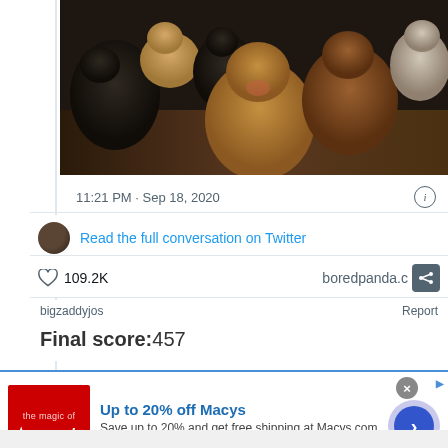[Figure (photo): Group of dogs of various breeds including pit bulls, boxers, and labs gathered on a dark wood floor looking at camera]
11:21 PM · Sep 18, 2020
Read the full conversation on Twitter
♡ 109.2K
boredpanda.c
bigzaddyjos
Report
Final score:457
[Figure (logo): Macy's advertisement with red logo square and text: Up to 20% off Macys. Save up to 20% and get free shipping at Macys.com. macys.com]